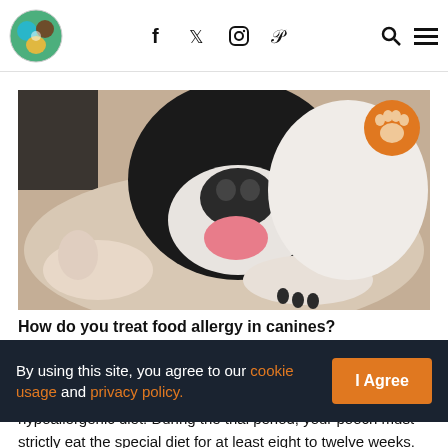Pet website header with logo, social icons (Facebook, Twitter, Instagram, Pinterest), search and menu icons
[Figure (photo): A black and white Boston Terrier dog lying on a beige carpet with its tongue sticking out and front paws extended forward. An orange paw print badge is overlaid in the upper right corner of the photo.]
How do you treat food allergy in canines?
By using this site, you agree to our cookie usage and privacy policy.
hypoallergenic diet. During the trial period, your pooch must strictly eat the special diet for at least eight to twelve weeks. Any treats, table food, and flavoured